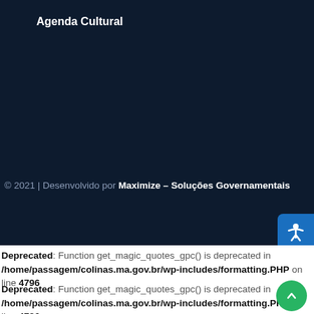Agenda Cultural
© 2021 | Desenvolvido por Maximize – Soluções Governamentais
Deprecated: Function get_magic_quotes_gpc() is deprecated in /home/passagem/colinas.ma.gov.br/wp-includes/formatting.PHP on line 4796
Deprecated: Function get_magic_quotes_gpc() is deprecated in /home/passagem/colinas.ma.gov.br/wp-includes/formatting.PHP on line 4796